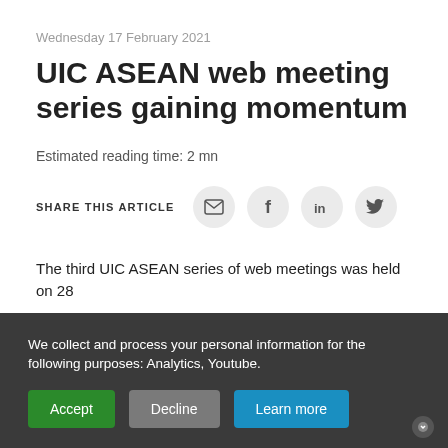Wednesday 17 February 2021
UIC ASEAN web meeting series gaining momentum
Estimated reading time: 2 mn
[Figure (infographic): Share this article icons: email, Facebook, LinkedIn, Twitter]
The third UIC ASEAN series of web meetings was held on 28
We collect and process your personal information for the following purposes: Analytics, Youtube.